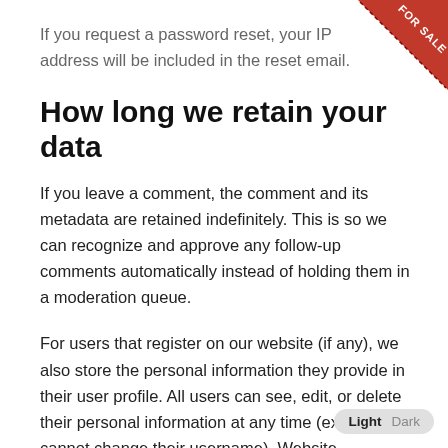If you request a password reset, your IP address will be included in the reset email.
How long we retain your data
If you leave a comment, the comment and its metadata are retained indefinitely. This is so we can recognize and approve any follow-up comments automatically instead of holding them in a moderation queue.
For users that register on our website (if any), we also store the personal information they provide in their user profile. All users can see, edit, or delete their personal information at any time (except they cannot change their username). Website administrators can also see and edit that information.
[Figure (other): FOR SALE red corner ribbon badge in top-right corner]
[Figure (other): Light/Dark theme toggle button in bottom-right corner]